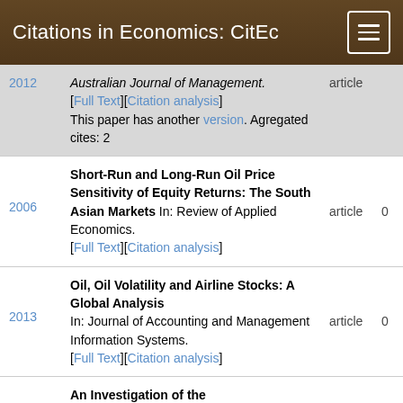Citations in Economics: CitEc
2012 | Australian Journal of Management. [Full Text][Citation analysis] This paper has another version. Agregated cites: 2 | article
2006 | Short-Run and Long-Run Oil Price Sensitivity of Equity Returns: The South Asian Markets In: Review of Applied Economics. [Full Text][Citation analysis] | article | 0
2013 | Oil, Oil Volatility and Airline Stocks: A Global Analysis In: Journal of Accounting and Management Information Systems. [Full Text][Citation analysis] | article | 0
An Investigation of the ...